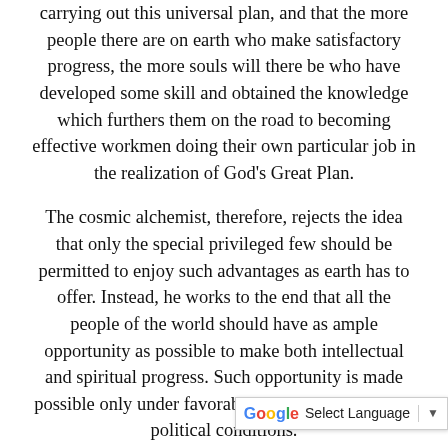carrying out this universal plan, and that the more people there are on earth who make satisfactory progress, the more souls will there be who have developed some skill and obtained the knowledge which furthers them on the road to becoming effective workmen doing their own particular job in the realization of God's Great Plan.
The cosmic alchemist, therefore, rejects the idea that only the special privileged few should be permitted to enjoy such advantages as earth has to offer. Instead, he works to the end that all the people of the world should have as ample opportunity as possible to make both intellectual and spiritual progress. Such opportunity is made possible only under favorable economic, social and political conditions.
However prosperous a people may be, if religious intolerance prevails they are limited in their spiritual progress. Religious intolerance, whether it is exercised by some orthodox hierarchy or by some group of materialists, strive